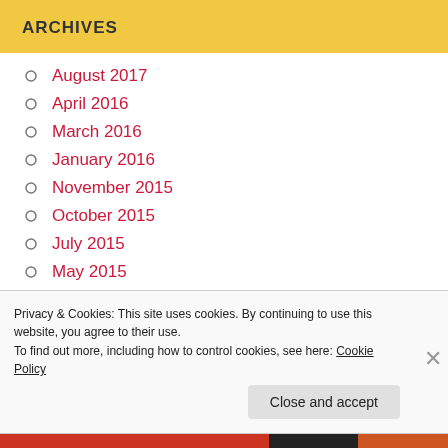ARCHIVES
August 2017
April 2016
March 2016
January 2016
November 2015
October 2015
July 2015
May 2015
April 2015
Privacy & Cookies: This site uses cookies. By continuing to use this website, you agree to their use.
To find out more, including how to control cookies, see here: Cookie Policy
Close and accept